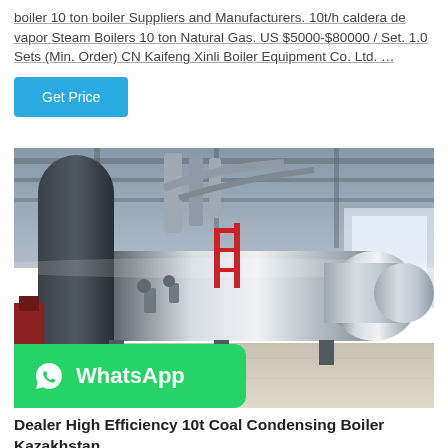boiler 10 ton boiler Suppliers and Manufacturers. 10t/h caldera de vapor Steam Boilers 10 ton Natural Gas. US $5000-$80000 / Set. 1.0 Sets (Min. Order) CN Kaifeng Xinli Boiler Equipment Co. Ltd. …
[Figure (photo): Industrial boiler facility interior showing large horizontal cylindrical steam boilers with piping and red railings, with WhatsApp overlay badge in bottom left corner]
Dealer High Efficiency 10t Coal Condensing Boiler Kazakhstan